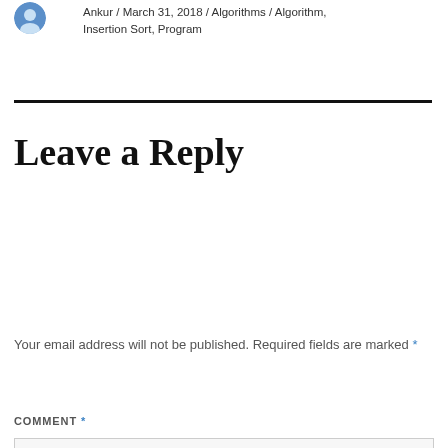Ankur / March 31, 2018 / Algorithms / Algorithm, Insertion Sort, Program
Leave a Reply
Your email address will not be published. Required fields are marked *
COMMENT *